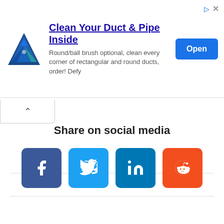[Figure (infographic): Advertisement banner for duct and pipe cleaning product with logo, text, and Open button]
Share on social media
[Figure (infographic): Social media share buttons: Facebook, Twitter, LinkedIn, Reddit]